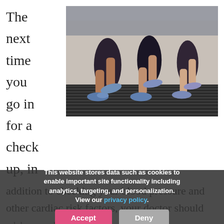The next time you go in for a check up, in addition to checking your blood pressure and other cardiac risk factors, your doctor should ask how much you exercise.
[Figure (photo): Close-up photo of people's legs walking on treadmills in a gym, wearing athletic shoes and shorts/leggings.]
"physical inactivity is about as bad for you as smoking," says Scott Strath, Ph.D., of the University of Wisconsin-Milwaukee's College
This website stores data such as cookies to enable important site functionality including analytics, targeting, and personalization. View our privacy policy.